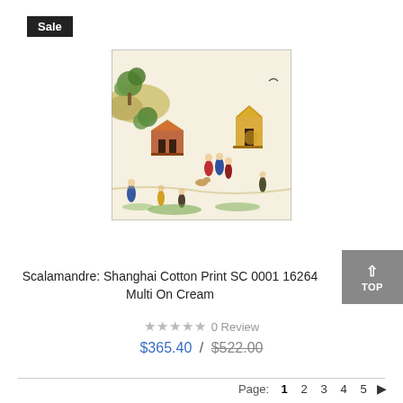Sale
[Figure (photo): Close-up photo of Scalamandre Shanghai Cotton Print fabric with Asian toile pattern showing pagodas, figures in traditional dress, trees, animals on a cream background]
Scalamandre: Shanghai Cotton Print SC 0001 16264 Multi On Cream
0 Review
$365.40 / $522.00
Page: 1 2 3 4 5 ▶